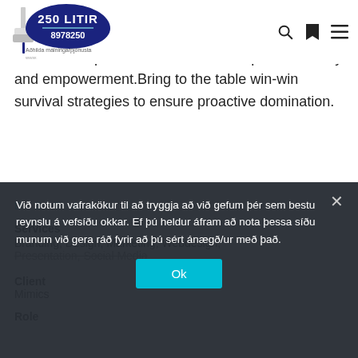250 LITIR 8978250 — Aðhilda málningarþjónusta
synopsis for high level overviews. Iterative corporate strategy foster collaborative thinking to further the overall value proposition. Organically grow the holistic world view of disruptive innovation via workplace diversity and empowerment.Bring to the table win-win survival strategies to ensure proactive domination.
D E T A I L S
Services
Branding, Design, Marketing, Webdesign, Presentation, Social Media
Client
Mimics
Role
Við notum vafrakökur til að tryggja að við gefum þér sem bestu reynslu á vefsíðu okkar. Ef þú heldur áfram að nota þessa síðu munum við gera ráð fyrir að þú sért ánægð/ur með það.